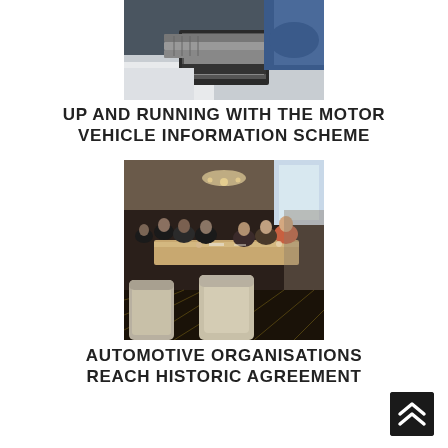[Figure (photo): Close-up photo of automotive equipment/laptop on a vehicle dashboard, with a person's arms crossed in the background]
UP AND RUNNING WITH THE MOTOR VEHICLE INFORMATION SCHEME
[Figure (photo): Group of automotive industry professionals seated around a conference table in a meeting room, having a discussion]
AUTOMOTIVE ORGANISATIONS REACH HISTORIC AGREEMENT
[Figure (logo): Dark square logo with double upward chevron arrows in white]